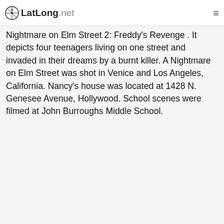LatLong.net
Nightmare on Elm Street 2: Freddy's Revenge . It depicts four teenagers living on one street and invaded in their dreams by a burnt killer. A Nightmare on Elm Street was shot in Venice and Los Angeles, California. Nancy's house was located at 1428 N. Genesee Avenue, Hollywood. School scenes were filmed at John Burroughs Middle School.